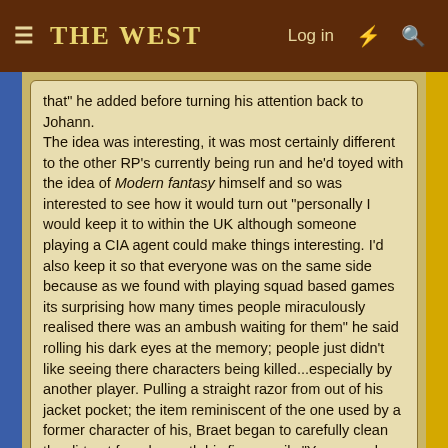THE WEST
that" he added before turning his attention back to Johann. The idea was interesting, it was most certainly different to the other RP's currently being run and he'd toyed with the idea of Modern fantasy himself and so was interested to see how it would turn out "personally I would keep it to within the UK although someone playing a CIA agent could make things interesting. I'd also keep it so that everyone was on the same side because as we found with playing squad based games its surprising how many times people miraculously realised there was an ambush waiting for them" he said rolling his dark eyes at the memory; people just didn't like seeing there characters being killed...especially by another player. Pulling a straight razor from out of his jacket pocket; the item reminiscent of the one used by a former character of his, Braet began to carefully clean the dirt out from beneath his finger nails "You may also want to list any racial or cultural information concerning the elves somewhere in your blurb so as to avoid confusion further down the line, The Sidhe in Sentinels for instance have a tendency to get rather nasty burns when they come into contact with iron and steel"
Tumbleweed27